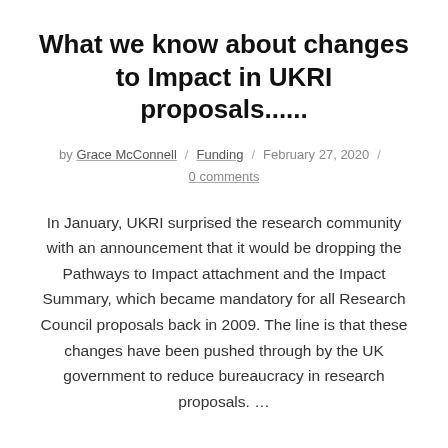What we know about changes to Impact in UKRI proposals......
by Grace McConnell / Funding / February 27, 2020 / 0 comments
In January, UKRI surprised the research community with an announcement that it would be dropping the Pathways to Impact attachment and the Impact Summary, which became mandatory for all Research Council proposals back in 2009. The line is that these changes have been pushed through by the UK government to reduce bureaucracy in research proposals. …